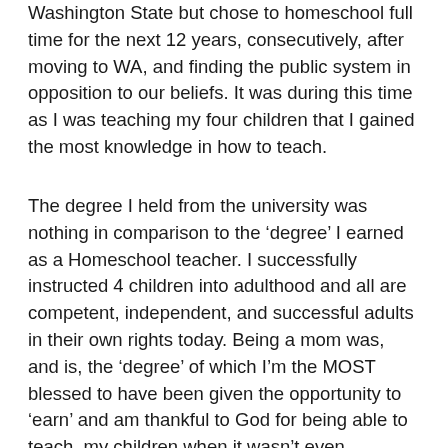Washington State but chose to homeschool full time for the next 12 years, consecutively, after moving to WA, and finding the public system in opposition to our beliefs. It was during this time as I was teaching my four children that I gained the most knowledge in how to teach.
The degree I held from the university was nothing in comparison to the ‘degree’ I earned as a Homeschool teacher. I successfully instructed 4 children into adulthood and all are competent, independent, and successful adults in their own rights today. Being a mom was, and is, the ‘degree’ of which I’m the MOST blessed to have been given the opportunity to ‘earn’ and am thankful to God for being able to teach  my children when it wasn’t even common or “cool.” I found being the instructor of my own children to be challenging but necessary and, looking back, personally, I definitely learned more than any professor was able to teach me in the artificial environment of the college lecture